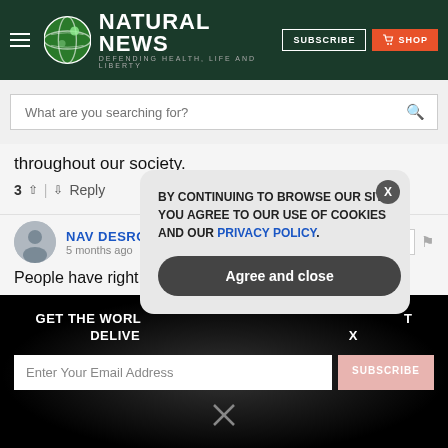NATURAL NEWS — DEFENDING HEALTH, LIFE AND LIBERTY
What are you searching for?
throughout our society.
3 ^ | v Reply
NAV DESRON 6 — 5 months ago
People have right to post the face of criminals
GET THE WORLD'S BEST NATURAL HEALTH NEWSLETTER DELIVERED STRAIGHT TO YOUR INBOX
BY CONTINUING TO BROWSE OUR SITE YOU AGREE TO OUR USE OF COOKIES AND OUR PRIVACY POLICY.
Agree and close